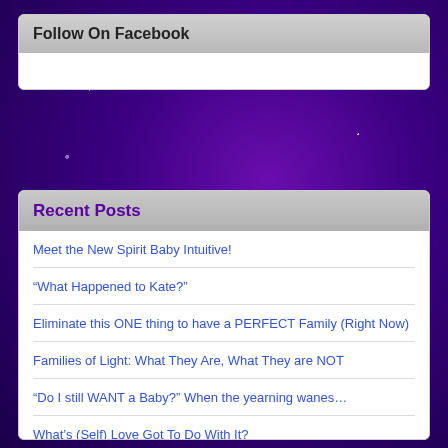Follow On Facebook
Recent Posts
Meet the New Spirit Baby Intuitive!
“What Happened to Kate?”
Eliminate this ONE thing to have a PERFECT Family (Right Now)
Families of Light: What They Are, What They are NOT
“Do I still WANT a Baby?” When the yearning wanes…
What’s (Self) Love Got To Do With It?
Divine Rewiring in Process/ONE Golden Egg
It’s a Good Day for a Final Clearing
You MUST See This Birth Announcement (Two Spots Open for Readings)
Elevating Consciousness (and changing EVERYTHING)
A New Message and/or New Guide for 2019